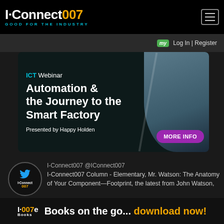I-Connect007 GOOD FOR THE INDUSTRY
[Figure (screenshot): ICT Webinar advertisement banner: Automation & the Journey to the Smart Factory, Presented by Happy Holden, MORE INFO button]
I-Connect007 @IConnect007
I-Connect007 Column - Elementary, Mr. Watson: The Anatomy of Your Component—Footprint, the latest from John Watson, @altium. https://bit.ly/3PBCwxO
[Figure (photo): Partial sandy ground photo at bottom]
I-007e Books   Books on the go... download now!